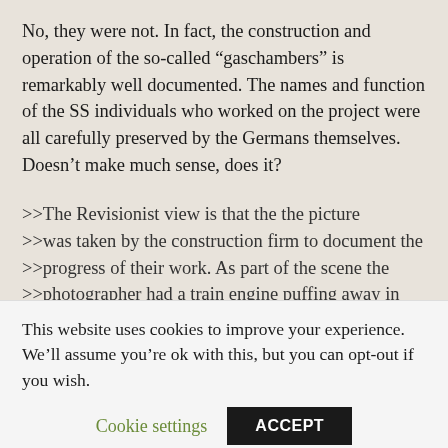No, they were not. In fact, the construction and operation of the so-called “gaschambers” is remarkably well documented. The names and function of the SS individuals who worked on the project were all carefully preserved by the Germans themselves. Doesn’t make much sense, does it?
>>The Revisionist view is that the the picture >>was taken by the construction firm to document the >>progress of their work. As part of the scene the >>photographer had a train engine puffing away in the >>foreground and the three boxes of roofing material
This website uses cookies to improve your experience. We’ll assume you’re ok with this, but you can opt-out if you wish.